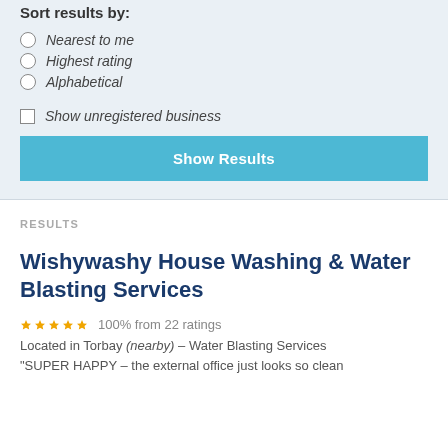Sort results by:
Nearest to me
Highest rating
Alphabetical
Show unregistered business
Show Results
RESULTS
Wishywashy House Washing & Water Blasting Services
100% from 22 ratings
Located in Torbay (nearby) – Water Blasting Services
"SUPER HAPPY – the external office just looks so clean